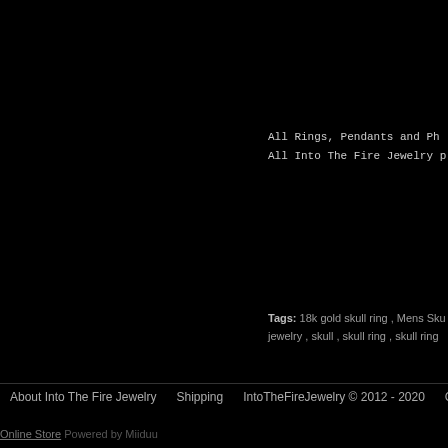All Rings, Pendants and Ph
All Into The Fire Jewelry p
wr
Tags: 18k gold skull ring , Mens Sku jewelry , skull , skull ring , skull ring
About Into The Fire Jewelry   Shipping   IntoTheFireJewelry © 2012 - 2020   Co
Online Store Powered by Miiduu